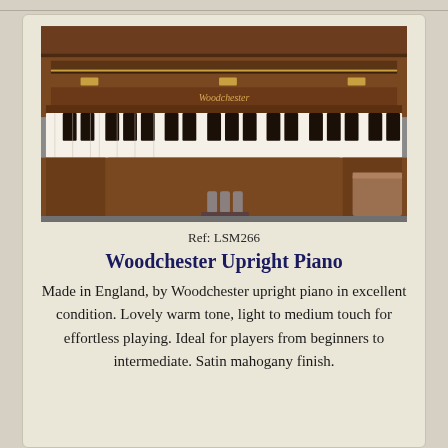[Figure (photo): Photograph of a Woodchester upright piano in satin mahogany finish, showing the keyboard and front panel in a room setting.]
Ref: LSM266
Woodchester Upright Piano
Made in England, by Woodchester upright piano in excellent condition. Lovely warm tone, light to medium touch for effortless playing. Ideal for players from beginners to intermediate. Satin mahogany finish.